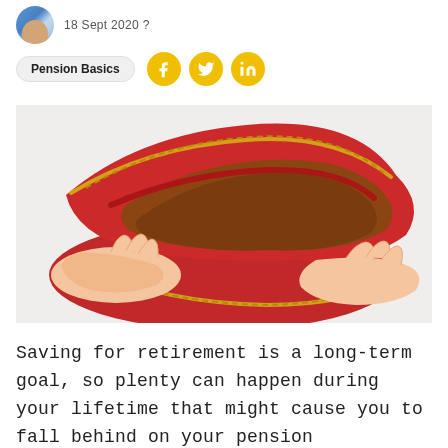18 Sept 2020 ?
Pension Basics
[Figure (photo): Hands holding open an empty red zip-around wallet, showing the empty interior with gold zipper detail, on a white background.]
Saving for retirement is a long-term goal, so plenty can happen during your lifetime that might cause you to fall behind on your pension